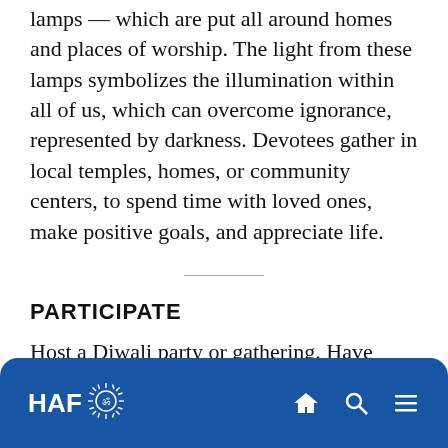lamps — which are put all around homes and places of worship. The light from these lamps symbolizes the illumination within all of us, which can overcome ignorance, represented by darkness. Devotees gather in local temples, homes, or community centers, to spend time with loved ones, make positive goals, and appreciate life.
PARTICIPATE
Host a Diwali party or gathering. Have HAF do a presentation on Diwali to your
HAF logo and navigation icons